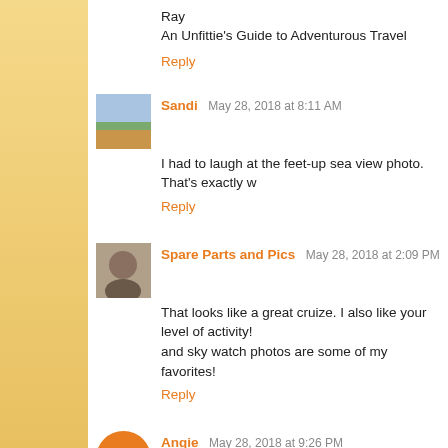Ray
An Unfittie's Guide to Adventurous Travel
Reply
Sandi  May 28, 2018 at 8:11 AM
I had to laugh at the feet-up sea view photo. That's exactly w
Reply
Spare Parts and Pics  May 28, 2018 at 2:09 PM
That looks like a great cruize. I also like your level of activity! and sky watch photos are some of my favorites!
Reply
Angie  May 28, 2018 at 9:26 PM
I enjoyed your whole post; I had never heard of the Zipper, b idea!!! Thanks for sharing!
Reply
Pietro Brosio  May 29, 2018 at 12:33 AM